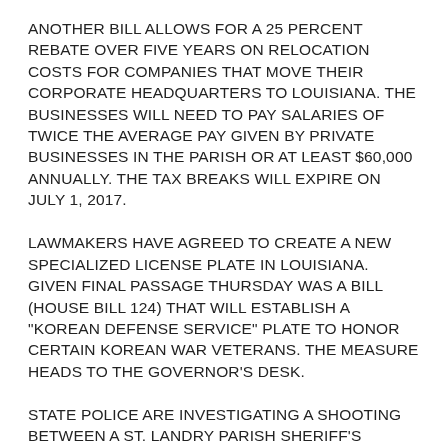ANOTHER BILL ALLOWS FOR A 25 PERCENT REBATE OVER FIVE YEARS ON RELOCATION COSTS FOR COMPANIES THAT MOVE THEIR CORPORATE HEADQUARTERS TO LOUISIANA. THE BUSINESSES WILL NEED TO PAY SALARIES OF TWICE THE AVERAGE PAY GIVEN BY PRIVATE BUSINESSES IN THE PARISH OR AT LEAST $60,000 ANNUALLY. THE TAX BREAKS WILL EXPIRE ON JULY 1, 2017.
LAWMAKERS HAVE AGREED TO CREATE A NEW SPECIALIZED LICENSE PLATE IN LOUISIANA. GIVEN FINAL PASSAGE THURSDAY WAS A BILL (HOUSE BILL 124) THAT WILL ESTABLISH A "KOREAN DEFENSE SERVICE" PLATE TO HONOR CERTAIN KOREAN WAR VETERANS. THE MEASURE HEADS TO THE GOVERNOR'S DESK.
STATE POLICE ARE INVESTIGATING A SHOOTING BETWEEN A ST. LANDRY PARISH SHERIFF'S DEPUTY AND A 61-YEAR-OLD MAN STOPPED FOR A TRAFFIC